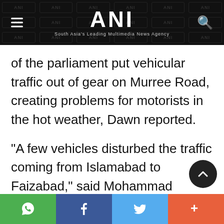ANI — South Asia's Leading Multimedia News Agency
of the parliament put vehicular traffic out of gear on Murree Road, creating problems for motorists in the hot weather, Dawn reported.
"A few vehicles disturbed the traffic coming from Islamabad to Faizabad," said Mohammad Anwar, a motorist at Shamsabad.
"The organisers of the rally had not
Social share bar: WhatsApp, Facebook, Twitter, More